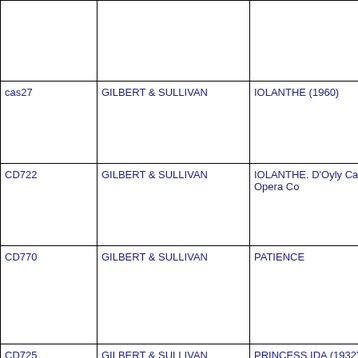| ID | Composer | Title |
| --- | --- | --- |
|  |  |  |
| cas27 | GILBERT & SULLIVAN | IOLANTHE (1960) |
| CD722 | GILBERT & SULLIVAN | IOLANTHE. D'Oyly Carte Opera Co |
| CD770 | GILBERT & SULLIVAN | PATIENCE |
| CD725 | GILBERT & SULLIVAN | PRINCESS IDA (1932) and PATIEN |